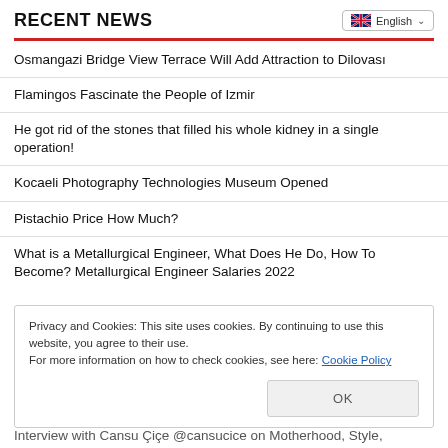RECENT NEWS
Osmangazi Bridge View Terrace Will Add Attraction to Dilovası
Flamingos Fascinate the People of Izmir
He got rid of the stones that filled his whole kidney in a single operation!
Kocaeli Photography Technologies Museum Opened
Pistachio Price How Much?
What is a Metallurgical Engineer, What Does He Do, How To Become? Metallurgical Engineer Salaries 2022
Privacy and Cookies: This site uses cookies. By continuing to use this website, you agree to their use.
For more information on how to check cookies, see here: Cookie Policy
Interview with Cansu Çiçe @cansucice on Motherhood, Style,